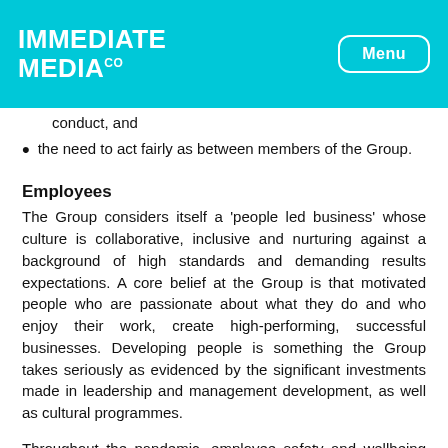IMMEDIATE MEDIA Co | Menu
conduct, and
the need to act fairly as between members of the Group.
Employees
The Group considers itself a 'people led business' whose culture is collaborative, inclusive and nurturing against a background of high standards and demanding results expectations. A core belief at the Group is that motivated people who are passionate about what they do and who enjoy their work, create high-performing, successful businesses. Developing people is something the Group takes seriously as evidenced by the significant investments made in leadership and management development, as well as cultural programmes.
Throughout the pandemic, employee safety and wellbeing has been a key priority and the Group has endeavoured to provide a supportive environment for all its staff. Employees have been encouraged to